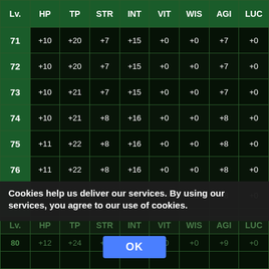| Lv. | HP | TP | STR | INT | VIT | WIS | AGI | LUC |
| --- | --- | --- | --- | --- | --- | --- | --- | --- |
| 71 | +10 | +20 | +7 | +15 | +0 | +0 | +7 | +0 |
| 72 | +10 | +20 | +7 | +15 | +0 | +0 | +7 | +0 |
| 73 | +10 | +21 | +7 | +15 | +0 | +0 | +7 | +0 |
| 74 | +10 | +21 | +8 | +16 | +0 | +0 | +8 | +0 |
| 75 | +11 | +22 | +8 | +16 | +0 | +0 | +8 | +0 |
| 76 | +11 | +22 | +8 | +16 | +0 | +0 | +8 | +0 |
| 77 | +11 | +22 | +8 | +17 | +0 | +0 | +8 | +0 |
| 78 | +11 | +23 | +8 | +17 | +0 | +0 | +8 | +0 |
| 79 | +11 | +23 | +8 | +17 | +0 | +0 | +8 | +0 |
| 80 | +12 | +24 | +0 | +18 | +0 | +0 | +9 | +0 |
Cookies help us deliver our services. By using our services, you agree to our use of cookies.